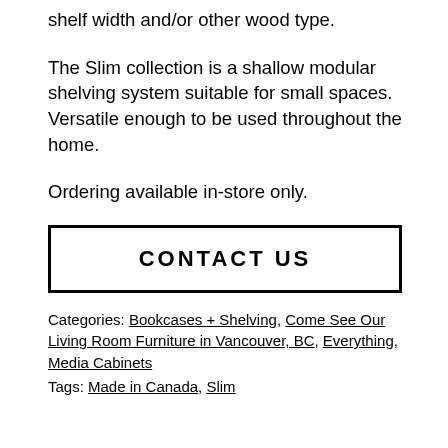shelf width and/or other wood type.
The Slim collection is a shallow modular shelving system suitable for small spaces. Versatile enough to be used throughout the home.
Ordering available in-store only.
CONTACT US
Categories: Bookcases + Shelving, Come See Our Living Room Furniture in Vancouver, BC, Everything, Media Cabinets
Tags: Made in Canada, Slim